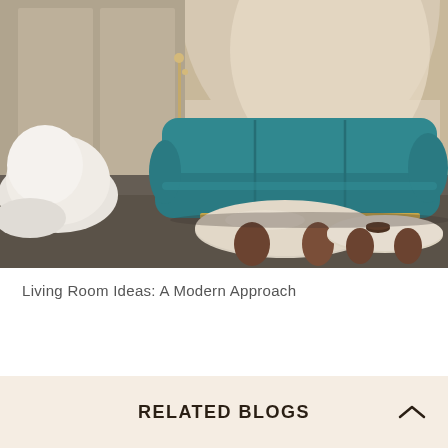[Figure (photo): Interior design photo showing a modern living room with a teal/dark green curved velvet sofa, two organic oval coffee tables with dark walnut sculpted bases on a concrete floor, a large white organic-shaped armchair or ottoman on the left, a brass floor lamp, and an arched concrete wall in the background.]
Living Room Ideas: A Modern Approach
RELATED BLOGS